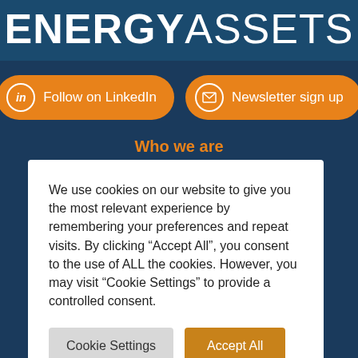ENERGYASSETS
[Figure (illustration): Two orange rounded pill buttons: 'Follow on LinkedIn' with LinkedIn icon, and 'Newsletter sign up' with envelope icon]
Who we are
Group structure and history
We use cookies on our website to give you the most relevant experience by remembering your preferences and repeat visits. By clicking “Accept All”, you consent to the use of ALL the cookies. However, you may visit “Cookie Settings” to provide a controlled consent.
Cookie Settings  Accept All
Data services